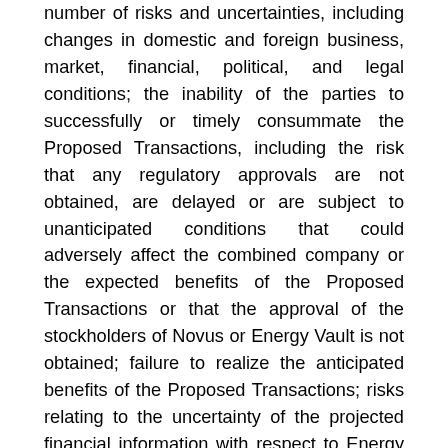number of risks and uncertainties, including changes in domestic and foreign business, market, financial, political, and legal conditions; the inability of the parties to successfully or timely consummate the Proposed Transactions, including the risk that any regulatory approvals are not obtained, are delayed or are subject to unanticipated conditions that could adversely affect the combined company or the expected benefits of the Proposed Transactions or that the approval of the stockholders of Novus or Energy Vault is not obtained; failure to realize the anticipated benefits of the Proposed Transactions; risks relating to the uncertainty of the projected financial information with respect to Energy Vault; risks related to the rollout of Energy Vault's business and the timing of expected business milestones; demand for renewable energy; ability to commercialize and sell its solution; ability to negotiate definitive contractual arrangements with potential customers; the impact of competitive technologies; ability to obtain sufficient supply of